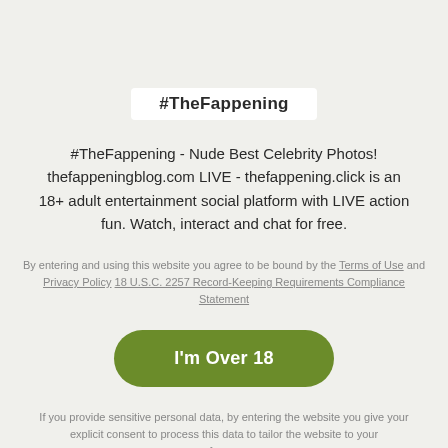#TheFappening
#TheFappening - Nude Best Celebrity Photos! thefappeningblog.com LIVE - thefappening.click is an 18+ adult entertainment social platform with LIVE action fun. Watch, interact and chat for free.
By entering and using this website you agree to be bound by the Terms of Use and Privacy Policy 18 U.S.C. 2257 Record-Keeping Requirements Compliance Statement
I'm Over 18
If you provide sensitive personal data, by entering the website you give your explicit consent to process this data to tailor the website to your preferences.